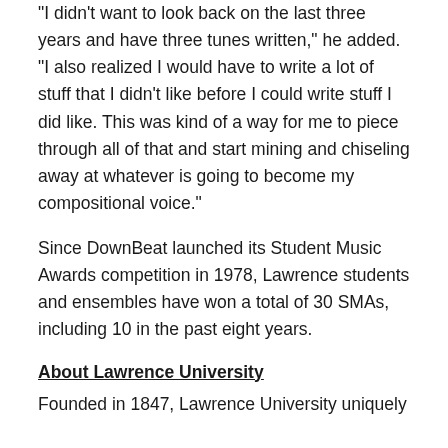“I didn’t want to look back on the last three years and have three tunes written,” he added. “I also realized I would have to write a lot of stuff that I didn’t like before I could write stuff I did like. This was kind of a way for me to piece through all of that and start mining and chiseling away at whatever is going to become my compositional voice.”
Since DownBeat launched its Student Music Awards competition in 1978, Lawrence students and ensembles have won a total of 30 SMAs, including 10 in the past eight years.
About Lawrence University
Founded in 1847, Lawrence University uniquely